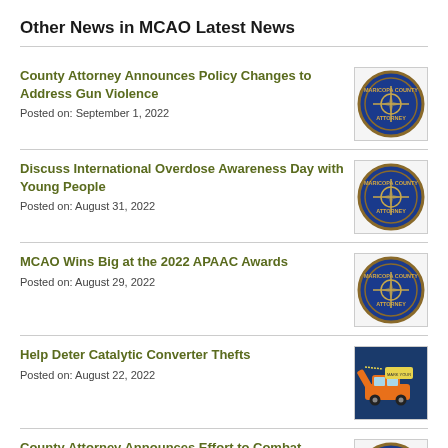Other News in MCAO Latest News
County Attorney Announces Policy Changes to Address Gun Violence
Posted on: September 1, 2022
Discuss International Overdose Awareness Day with Young People
Posted on: August 31, 2022
MCAO Wins Big at the 2022 APAAC Awards
Posted on: August 29, 2022
Help Deter Catalytic Converter Thefts
Posted on: August 22, 2022
County Attorney Announces Effort to Combat Animal Cruelty